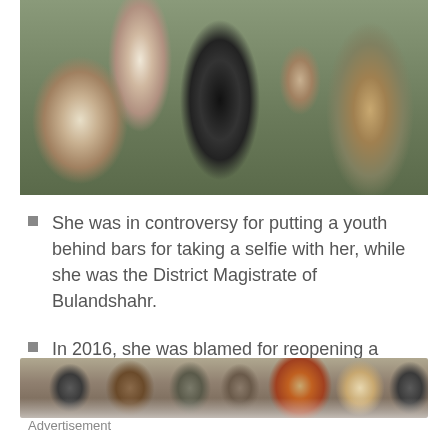[Figure (photo): Group of people in a crowd, including a woman in a black embroidered shawl/dress with red detailing, a man in white, and others around them. Close-up crowd scene.]
She was in controversy for putting a youth behind bars for taking a selfie with her, while she was the District Magistrate of Bulandshahr.
In 2016, she was blamed for reopening a slaughterhouse in Sahaspur, Bijnor.
[Figure (photo): Large crowd of people outdoors, including police officers and civilians. Some people are carrying something. Outdoor public gathering scene.]
Advertisement